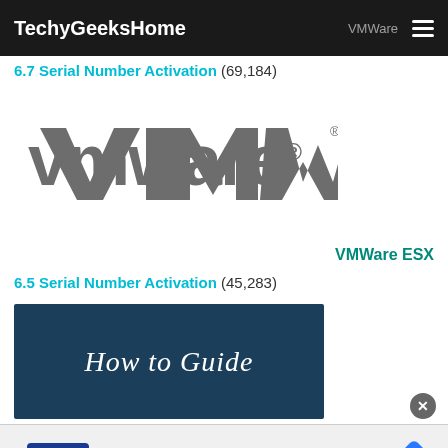TechyGeeksHome | VMWare
6.7 Serial Number Activation (69,184)
[Figure (logo): VMware logo in gray]
VMWare ESX
6.5 Serial Number Activation (45,283)
[Figure (screenshot): Dark teal banner with 'How to Guide' text in italic script]
[Figure (infographic): Advertisement bar with CM logo, checkmarks for In-store shopping, Curbside pickup, Delivery, and navigation arrow icon]